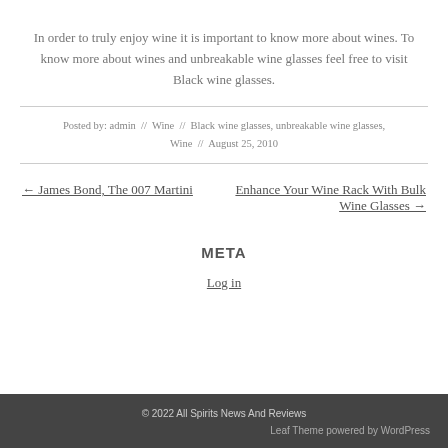In order to truly enjoy wine it is important to know more about wines. To know more about wines and unbreakable wine glasses feel free to visit Black wine glasses.
Posted by: admin // Wine // Black wine glasses, unbreakable wine glasses, Wine // August 25, 2010
← James Bond, The 007 Martini   Enhance Your Wine Rack With Bulk Wine Glasses →
META
Log in
© 2022 All Spirits News And Reviews
Leaf Theme powered by WordPress